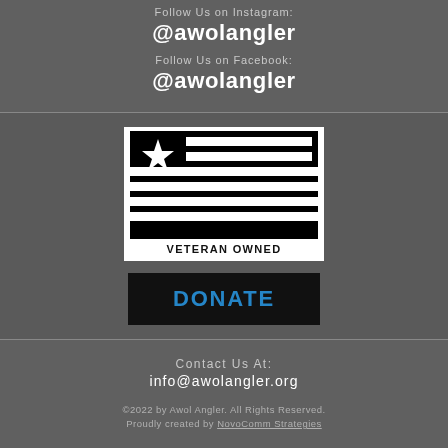Follow Us on Instagram:
@awolangler
Follow Us on Facebook:
@awolangler
[Figure (logo): Veteran Owned badge: black flag with white star and horizontal stripes, text VETERAN OWNED below]
[Figure (other): Black DONATE button with blue text]
Contact Us At:
info@awolangler.org
©2022 by Awol Angler. All Rights Reserved. Proudly created by NovoComm Strategies